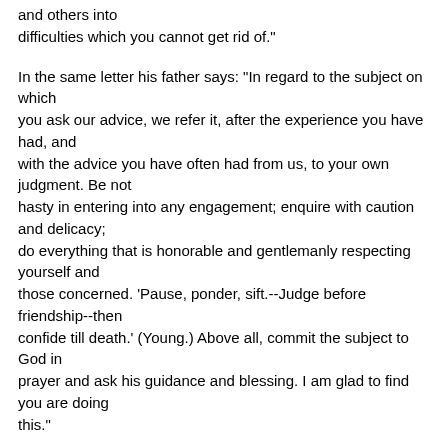and others into difficulties which you cannot get rid of."
In the same letter his father says: "In regard to the subject on which you ask our advice, we refer it, after the experience you have had, and with the advice you have often had from us, to your own judgment. Be not hasty in entering into any engagement; enquire with caution and delicacy; do everything that is honorable and gentlemanly respecting yourself and those concerned. 'Pause, ponder, sift.--Judge before friendship--then confide till death.' (Young.) Above all, commit the subject to God in prayer and ask his guidance and blessing. I am glad to find you are doing this."
How well he obeyed his father's injunctions may be gathered from the following letter, which speaks for itself:--
CONCORD, September 2, 1816.